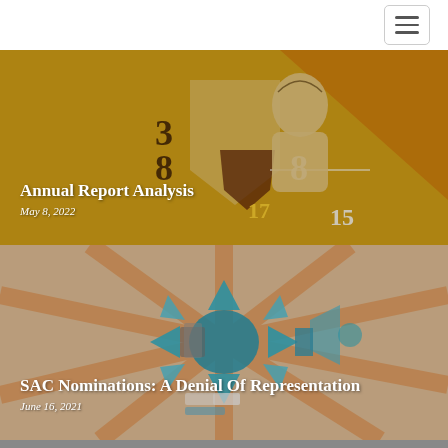[Figure (photo): Article card with golden/yellow illustrated background showing a classical bust statue with numbers 3, 8, 8, 17, 15 on shield graphics. Title overlay reads 'Annual Report Analysis'. Date: May 8, 2022.]
Annual Report Analysis
May 8, 2022
[Figure (illustration): Article card with warm sunburst background showing a teal/cyan graphic of arrows pointing outward with books and a megaphone. Title overlay reads 'SAC Nominations: A Denial Of Representation'. Date: June 16, 2021.]
SAC Nominations: A Denial Of Representation
June 16, 2021
[Figure (photo): Bottom strip of a photo showing three men in suits sitting at a table with microphones, appearing to be at an official government or institutional proceeding.]